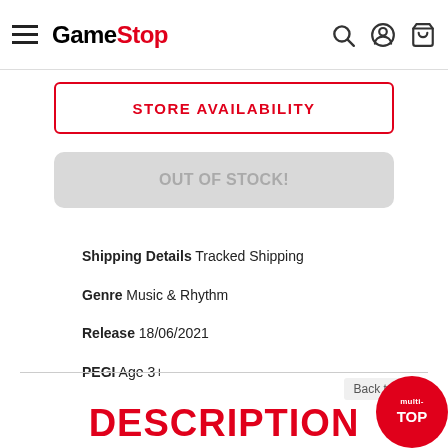GameStop header with hamburger menu, logo, search, account, and cart icons
STORE AVAILABILITY
OUT OF STOCK!
Shipping Details Tracked Shipping
Genre Music & Rhythm
Release 18/06/2021
PEGI Age 3+
Back to Top
DESCRIPTION
Featuring 20 original songs, Geminose: Animal Popstars is a multi-faceted game with music at its heart. Whether playing solo or with a friend in co-op mode players will need to stay on the beat and master